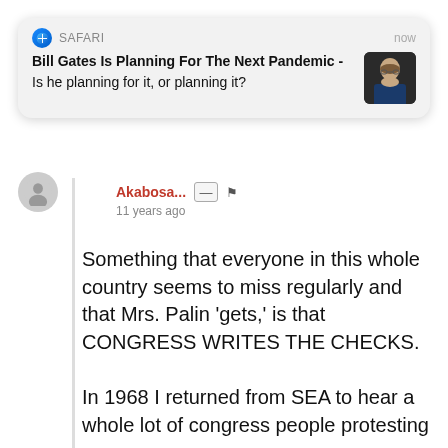[Figure (screenshot): Safari browser notification card showing headline 'Bill Gates Is Planning For The Next Pandemic -' with subtitle 'Is he planning for it, or planning it?' and a thumbnail photo of Bill Gates. Timestamp shows 'now'.]
Akabosa... 11 years ago
Something that everyone in this whole country seems to miss regularly and that Mrs. Palin 'gets,' is that CONGRESS WRITES THE CHECKS.

In 1968 I returned from SEA to hear a whole lot of congress people protesting